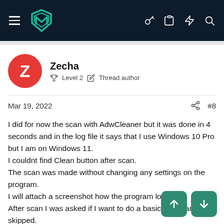Malwarebytes Forum navigation bar with logo, hamburger menu, and icons
Zecha
Level 2  Thread author
Mar 19, 2022  #8
I did for now the scan with AdwCleaner but it was done in 4 seconds and in the log file it says that I use Windows 10 Pro but I am on Windows 11.
I couldnt find Clean button after scan.
The scan was made without changing any settings on the program.
I will attach a screenshot how the program looks.
After scan I was asked if I want to do a basic repair and I skipped.
Run basic repair it means "Clean button"?
I dont want to go on next step if this one was wrong m... y by clicking on basic Repair because I have to do steps in order.